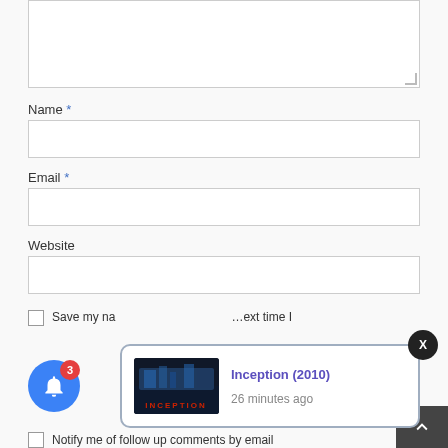[Figure (screenshot): Web comment form with textarea (partially visible at top), Name field with asterisk, Email field with asterisk, Website field, save info checkbox row, and notify me checkbox row. Overlaid with a notification popup showing Inception (2010) movie notification from 26 minutes ago, a blue notification bell with badge 3, a dark close X button, and a back-to-top arrow.]
Name *
Email *
Website
Save my na... ext time I
Notify me of follow up comments by email
Inception (2010)
26 minutes ago